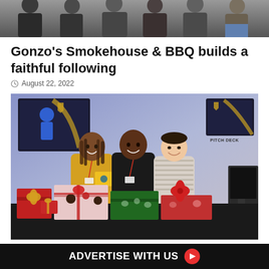[Figure (photo): Group photo of people in dark clothing at top of page, partially cropped]
Gonzo's Smokehouse & BBQ builds a faithful following
August 22, 2022
[Figure (photo): Three women standing together smiling, one in yellow jacket holding a Walmart gift card, with wrapped Christmas gifts on table in front, in a room with sports screens on the wall and a PITCH DECK sign]
ADVERTISE WITH US